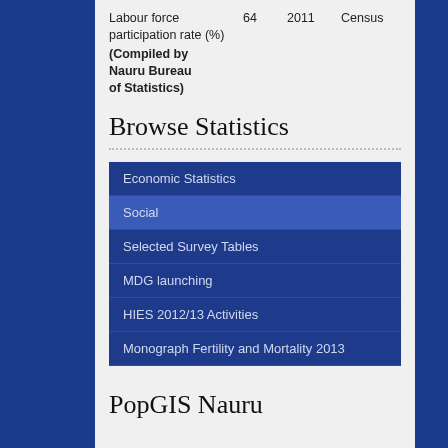| Indicator | Value | Year | Source |
| --- | --- | --- | --- |
| Labour force participation rate (%) | 64 | 2011 | Census |
(Compiled by Nauru Bureau of Statistics)
Browse Statistics
Economic Statistics
Social
Selected Survey Tables
MDG launching
HIES 2012/13 Activities
Monograph Fertility and Mortality 2013
PopGIS Nauru